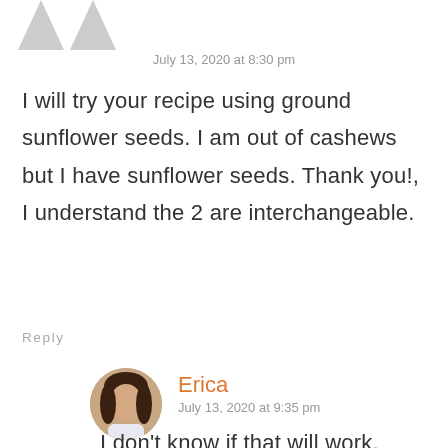[Figure (illustration): Two grey avatar silhouette icons side by side at top left]
July 13, 2020 at 8:30 pm
I will try your recipe using ground sunflower seeds. I am out of cashews but I have sunflower seeds. Thank you!, I understand the 2 are interchangeable.
Reply
[Figure (photo): Circular profile photo of a woman named Erica with dark hair]
Erica
July 13, 2020 at 9:35 pm
I don't know if that will work. Cashews don't have the same texture as sunflower